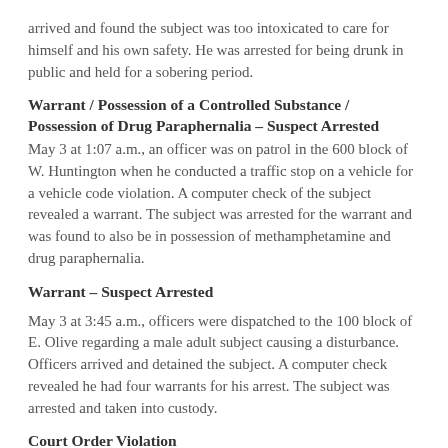arrived and found the subject was too intoxicated to care for himself and his own safety. He was arrested for being drunk in public and held for a sobering period.
Warrant / Possession of a Controlled Substance / Possession of Drug Paraphernalia – Suspect Arrested
May 3 at 1:07 a.m., an officer was on patrol in the 600 block of W. Huntington when he conducted a traffic stop on a vehicle for a vehicle code violation. A computer check of the subject revealed a warrant. The subject was arrested for the warrant and was found to also be in possession of methamphetamine and drug paraphernalia.
Warrant – Suspect Arrested
May 3 at 3:45 a.m., officers were dispatched to the 100 block of E. Olive regarding a male adult subject causing a disturbance. Officers arrived and detained the subject. A computer check revealed he had four warrants for his arrest. The subject was arrested and taken into custody.
Court Order Violation